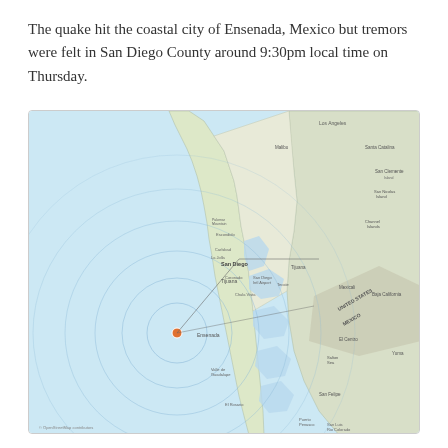The quake hit the coastal city of Ensenada, Mexico but tremors were felt in San Diego County around 9:30pm local time on Thursday.
[Figure (map): A map showing the coastal region of Baja California and San Diego County area, with concentric seismic wave rings centered in the ocean west of Ensenada, Mexico. A small orange dot marks the earthquake epicenter. Lines extend from the epicenter toward San Diego area. Place names visible include San Diego, Tijuana, Ensenada, and US-Mexico border labels.]